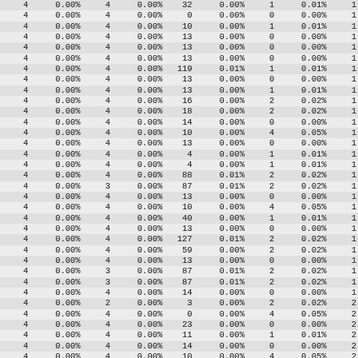| 4 | 0.00% | 4 | 0.00% | 32 | 0.00% | 1 | 0.01% | 1 |
| 4 | 0.00% | 4 | 0.00% | 0 | 0.00% | 0 | 0.00% | 1 |
| 4 | 0.00% | 4 | 0.00% | 10 | 0.00% | 1 | 0.01% | 1 |
| 4 | 0.00% | 4 | 0.00% | 13 | 0.00% | 0 | 0.00% | 1 |
| 4 | 0.00% | 4 | 0.00% | 13 | 0.00% | 0 | 0.00% | 1 |
| 4 | 0.00% | 4 | 0.00% | 13 | 0.00% | 0 | 0.00% | 1 |
| 4 | 0.00% | 4 | 0.00% | 119 | 0.01% | 1 | 0.01% | 1 |
| 4 | 0.00% | 4 | 0.00% | 13 | 0.00% | 0 | 0.00% | 1 |
| 4 | 0.00% | 4 | 0.00% | 13 | 0.00% | 1 | 0.01% | 1 |
| 4 | 0.00% | 4 | 0.00% | 16 | 0.00% | 2 | 0.02% | 1 |
| 4 | 0.00% | 4 | 0.00% | 18 | 0.00% | 2 | 0.02% | 1 |
| 4 | 0.00% | 4 | 0.00% | 14 | 0.00% | 0 | 0.00% | 1 |
| 4 | 0.00% | 4 | 0.00% | 10 | 0.00% | 4 | 0.05% | 1 |
| 4 | 0.00% | 4 | 0.00% | 13 | 0.00% | 0 | 0.00% | 1 |
| 4 | 0.00% | 4 | 0.00% | 4 | 0.00% | 1 | 0.01% | 1 |
| 4 | 0.00% | 4 | 0.00% | 4 | 0.00% | 1 | 0.01% | 1 |
| 4 | 0.00% | 4 | 0.00% | 88 | 0.01% | 2 | 0.02% | 1 |
| 4 | 0.00% | 3 | 0.00% | 87 | 0.01% | 2 | 0.02% | 1 |
| 4 | 0.00% | 4 | 0.00% | 13 | 0.00% | 0 | 0.00% | 1 |
| 4 | 0.00% | 4 | 0.00% | 10 | 0.00% | 4 | 0.05% | 1 |
| 4 | 0.00% | 4 | 0.00% | 40 | 0.00% | 1 | 0.01% | 1 |
| 4 | 0.00% | 4 | 0.00% | 13 | 0.00% | 0 | 0.00% | 1 |
| 4 | 0.00% | 4 | 0.00% | 127 | 0.01% | 2 | 0.02% | 1 |
| 4 | 0.00% | 4 | 0.00% | 59 | 0.00% | 2 | 0.02% | 1 |
| 4 | 0.00% | 4 | 0.00% | 13 | 0.00% | 0 | 0.00% | 1 |
| 4 | 0.00% | 3 | 0.00% | 87 | 0.01% | 2 | 0.02% | 1 |
| 4 | 0.00% | 3 | 0.00% | 87 | 0.01% | 2 | 0.02% | 1 |
| 4 | 0.00% | 4 | 0.00% | 14 | 0.00% | 0 | 0.00% | 1 |
| 4 | 0.00% | 2 | 0.00% | 3 | 0.00% | 2 | 0.02% | 2 |
| 4 | 0.00% | 4 | 0.00% | 0 | 0.00% | 4 | 0.05% | 2 |
| 4 | 0.00% | 4 | 0.00% | 23 | 0.00% | 0 | 0.00% | 2 |
| 4 | 0.00% | 4 | 0.00% | 11 | 0.00% | 1 | 0.01% | 2 |
| 4 | 0.00% | 4 | 0.00% | 14 | 0.00% | 0 | 0.00% | 2 |
| 4 | 0.00% | 4 | 0.00% | 10 | 0.00% | 4 | 0.05% | 2 |
| 4 | 0.00% | 4 | 0.00% | 10 | 0.00% | 4 | 0.05% | 2 |
| 4 | 0.00% | 4 | 0.00% | 10 | 0.00% | 4 | 0.05% | 2 |
| 4 | 0.00% | 4 | 0.00% | 10 | 0.00% | 4 | 0.05% | 2 |
| 4 | 0.00% | 4 | 0.00% | 40 | 0.00% | 1 | 0.01% | 2 |
| 4 | 0.00% | 4 | 0.00% | 0 | 0.00% | 0 | 0.00% | 2 |
| 4 | 0.00% | 4 | 0.00% | 4 | 0.00% | 2 | 0.02% | 2 |
| 4 | 0.00% | 3 | 0.00% | 87 | 0.01% | 2 | 0.02% | 2 |